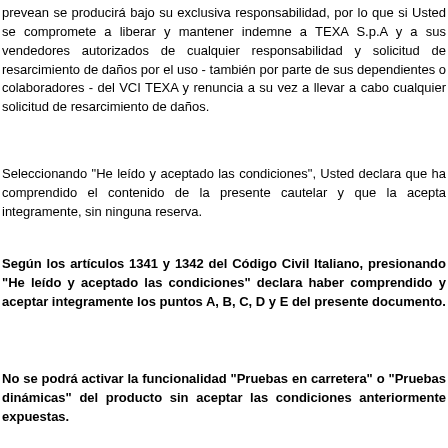prevean se producirá bajo su exclusiva responsabilidad, por lo que si Usted se compromete a liberar y mantener indemne a TEXA S.p.A y a sus vendedores autorizados de cualquier responsabilidad y solicitud de resarcimiento de daños por el uso - también por parte de sus dependientes o colaboradores - del VCI TEXA y renuncia a su vez a llevar a cabo cualquier solicitud de resarcimiento de daños.
Seleccionando "He leído y aceptado las condiciones", Usted declara que ha comprendido el contenido de la presente cautelar y que la acepta integramente, sin ninguna reserva.
Según los artículos 1341 y 1342 del Código Civil Italiano, presionando "He leído y aceptado las condiciones" declara haber comprendido y aceptar integramente los puntos A, B, C, D y E del presente documento.
No se podrá activar la funcionalidad "Pruebas en carretera" o "Pruebas dinámicas" del producto sin aceptar las condiciones anteriormente expuestas.